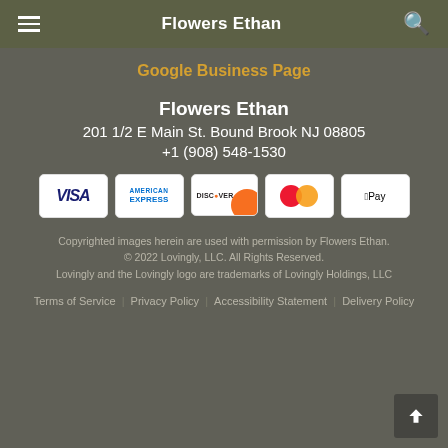Flowers Ethan
Google Business Page
Flowers Ethan
201 1/2 E Main St. Bound Brook NJ 08805
+1 (908) 548-1530
[Figure (logo): Payment method logos: Visa, American Express, Discover, Mastercard, Apple Pay]
Copyrighted images herein are used with permission by Flowers Ethan.
© 2022 Lovingly, LLC. All Rights Reserved.
Lovingly and the Lovingly logo are trademarks of Lovingly Holdings, LLC
Terms of Service | Privacy Policy | Accessibility Statement | Delivery Policy